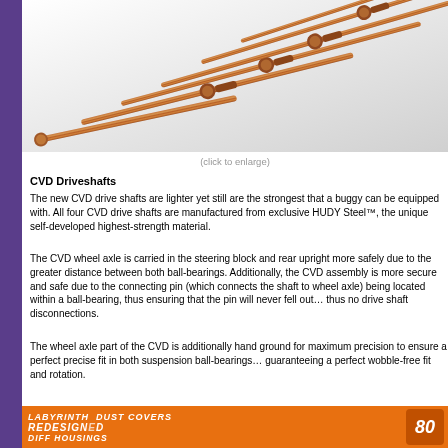[Figure (photo): Multiple copper/bronze-toned CVD driveshafts arranged diagonally from lower-left to upper-right, showing ball ends and pin connectors on white background]
(click to enlarge)
CVD Driveshafts
The new CVD drive shafts are lighter yet still are the strongest that a buggy can be equipped with. All four CVD drive shafts are manufactured from exclusive HUDY Steel™, the unique self-developed highest-strength material.
The CVD wheel axle is carried in the steering block and rear upright more safely due to the greater distance between both ball-bearings. Additionally, the CVD assembly is more secure and safe due to the connecting pin (which connects the shaft to wheel axle) being located within a ball-bearing, thus ensuring that the pin will never fell out… thus no drive shaft disconnections.
The wheel axle part of the CVD is additionally hand ground for maximum precision to ensure a perfect precise fit in both suspension ball-bearings… guaranteeing a perfect wobble-free fit and rotation.
[Figure (photo): Orange promotional banner reading LABYRINTH DUST COVERS REDESIGNED DIFF HOUSINGS with a badge showing 80]